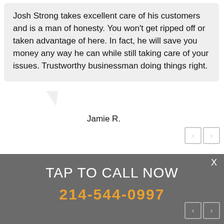Josh Strong takes excellent care of his customers and is a man of honesty. You won't get ripped off or taken advantage of here. In fact, he will save you money any way he can while still taking care of your issues. Trustworthy businessman doing things right.
Jamie R.
VEHICLE TIPS
According to recent studies, 5 percent of all motor vehicle fatalities are clearly caused by automobile maintenance neglect.
TAP TO CALL NOW
214-544-0997